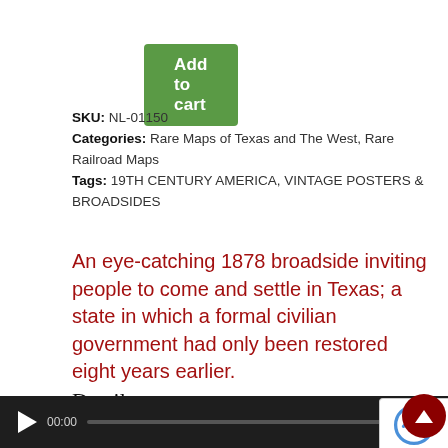Add to cart
SKU: NL-01150
Categories: Rare Maps of Texas and The West, Rare Railroad Maps
Tags: 19TH CENTURY AMERICA, VINTAGE POSTERS & BROADSIDES
An eye-catching 1878 broadside inviting people to come and settle in Texas; a state in which a formal civilian government had only been restored eight years earlier.
Details
Listen to Michael talk about this map:
[Figure (other): Audio player bar with play button, time display 00:00, progress bar, and end time 00:00 on dark background]